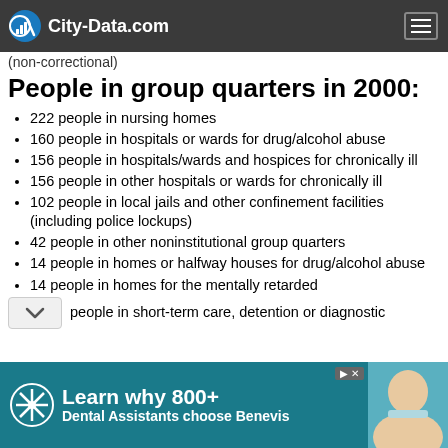City-Data.com
(non-correctional)
People in group quarters in 2000:
222 people in nursing homes
160 people in hospitals or wards for drug/alcohol abuse
156 people in hospitals/wards and hospices for chronically ill
156 people in other hospitals or wards for chronically ill
102 people in local jails and other confinement facilities (including police lockups)
42 people in other noninstitutional group quarters
14 people in homes or halfway houses for drug/alcohol abuse
14 people in homes for the mentally retarded
people in short-term care, detention or diagnostic
[Figure (infographic): Advertisement banner: Learn why 800+ Dental Assistants choose Benevis]